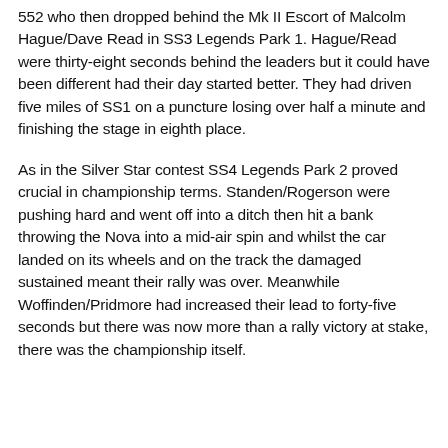552 who then dropped behind the Mk II Escort of Malcolm Hague/Dave Read in SS3 Legends Park 1. Hague/Read were thirty-eight seconds behind the leaders but it could have been different had their day started better. They had driven five miles of SS1 on a puncture losing over half a minute and finishing the stage in eighth place.
As in the Silver Star contest SS4 Legends Park 2 proved crucial in championship terms. Standen/Rogerson were pushing hard and went off into a ditch then hit a bank throwing the Nova into a mid-air spin and whilst the car landed on its wheels and on the track the damaged sustained meant their rally was over. Meanwhile Woffinden/Pridmore had increased their lead to forty-five seconds but there was now more than a rally victory at stake, there was the championship itself.